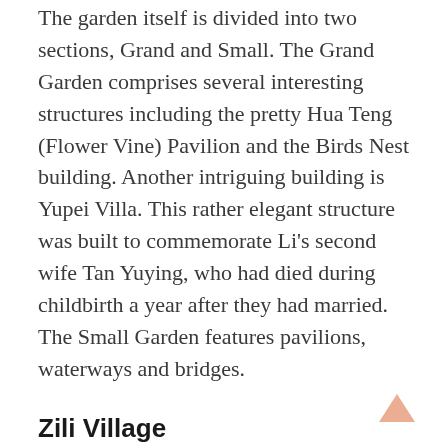The garden itself is divided into two sections, Grand and Small. The Grand Garden comprises several interesting structures including the pretty Hua Teng (Flower Vine) Pavilion and the Birds Nest building. Another intriguing building is Yupei Villa. This rather elegant structure was built to commemorate Li’s second wife Tan Yuying, who had died during childbirth a year after they had married. The Small Garden features pavilions, waterways and bridges.
Zili Village
Zili is arguably the prettiest of all the sites. Founded by the Fang clan